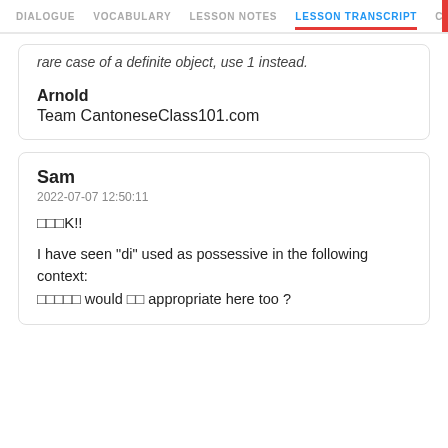DIALOGUE  VOCABULARY  LESSON NOTES  LESSON TRANSCRIPT  C
rare case of a definite object, use 1 instead.
Arnold
Team CantoneseClass101.com
Sam
2022-07-07 12:50:11
□□□K!!

I have seen "di" used as possessive in the following context:
□□□□□ would □□ appropriate here too ?